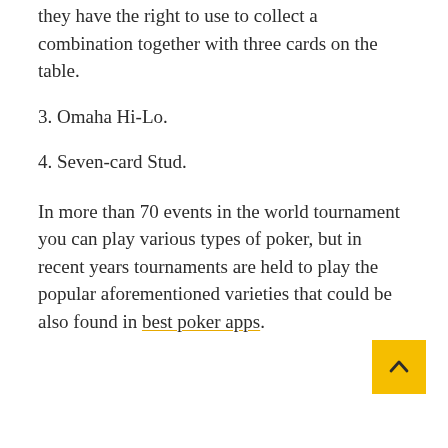they have the right to use to collect a combination together with three cards on the table.
3. Omaha Hi-Lo.
4. Seven-card Stud.
In more than 70 events in the world tournament you can play various types of poker, but in recent years tournaments are held to play the popular aforementioned varieties that could be also found in best poker apps.